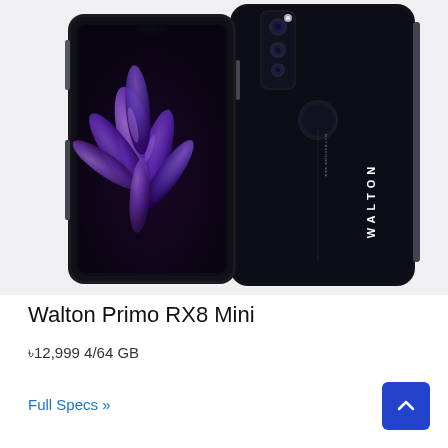[Figure (photo): Product photo showing front and back views of a Walton Primo RX8 Mini smartphone. The front view shows the phone with a purple flower/feather design on the screen. The back view shows the dark black finish with triple camera setup, fingerprint sensor, and WALTON branding in white text.]
Walton Primo RX8 Mini
৳12,999 4/64 GB
Full Specs »